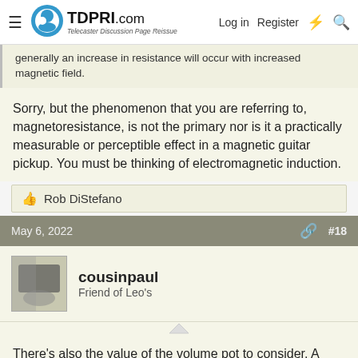TDPRI.com — Telecaster Discussion Page Reissue | Log in | Register
generally an increase in resistance will occur with increased magnetic field.
Sorry, but the phenomenon that you are referring to, magnetoresistance, is not the primary nor is it a practically measurable or perceptible effect in a magnetic guitar pickup. You must be thinking of electromagnetic induction.
👍 Rob DiStefano
May 6, 2022  #18
cousinpaul
Friend of Leo's
There's also the value of the volume pot to consider. A pickup can perform differently in a different guitar or with a different pot. They don't exist in a vacuum.
May 6, 2022  #19